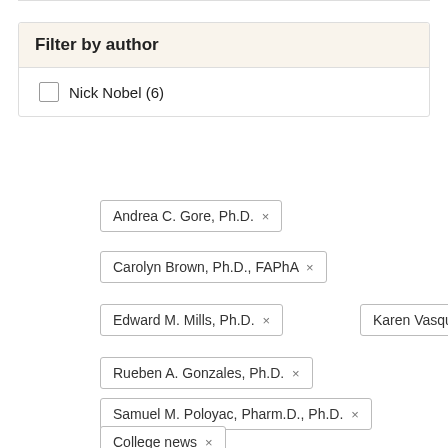Filter by author
Nick Nobel (6)
Andrea C. Gore, Ph.D. ×
Carolyn Brown, Ph.D., FAPhA ×
Edward M. Mills, Ph.D. ×
Karen Vasquez, Ph.D. ×
Rueben A. Gonzales, Ph.D. ×
Samuel M. Poloyac, Pharm.D., Ph.D. ×
College news ×